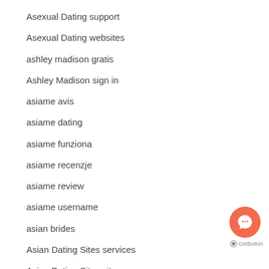Asexual Dating support
Asexual Dating websites
ashley madison gratis
Ashley Madison sign in
asiame avis
asiame dating
asiame funziona
asiame recenzje
asiame review
asiame username
asian brides
Asian Dating Sites services
Asian Dating Sites sites